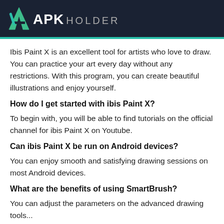APK HOLDER
Ibis Paint X is an excellent tool for artists who love to draw. You can practice your art every day without any restrictions. With this program, you can create beautiful illustrations and enjoy yourself.
How do I get started with ibis Paint X?
To begin with, you will be able to find tutorials on the official channel for ibis Paint X on Youtube.
Can ibis Paint X be run on Android devices?
You can enjoy smooth and satisfying drawing sessions on most Android devices.
What are the benefits of using SmartBrush?
You can adjust the parameters on the advanced drawing tools...